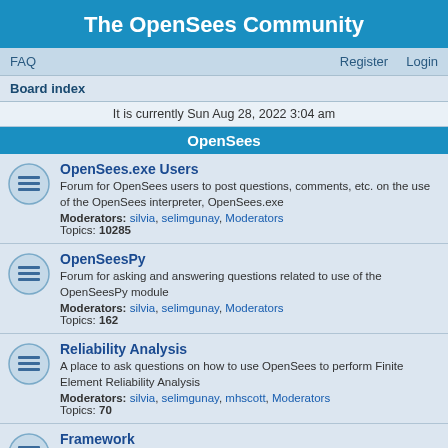The OpenSees Community
FAQ   Register   Login
Board index
It is currently Sun Aug 28, 2022 3:04 am
OpenSees
OpenSees.exe Users
Forum for OpenSees users to post questions, comments, etc. on the use of the OpenSees interpreter, OpenSees.exe
Moderators: silvia, selimgunay, Moderators
Topics: 10285
OpenSeesPy
Forum for asking and answering questions related to use of the OpenSeesPy module
Moderators: silvia, selimgunay, Moderators
Topics: 162
Reliability Analysis
A place to ask questions on how to use OpenSees to perform Finite Element Reliability Analysis
Moderators: silvia, selimgunay, mhscott, Moderators
Topics: 70
Framework
For developers writing C++, Fortran, Java, code who have questions or comments to make.
Moderators: silvia, selimgunay, Moderators